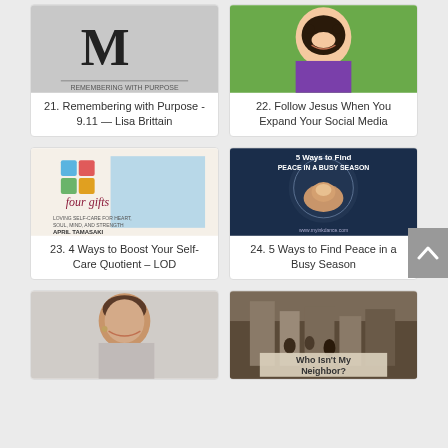[Figure (screenshot): Book or logo image with large letter M on gray background]
21. Remembering with Purpose - 9.11 — Lisa Brittain
[Figure (photo): Woman with curly dark hair smiling, wearing purple top, outdoors]
22. Follow Jesus When You Expand Your Social Media
[Figure (photo): Book cover: Four Gifts by April Tamasaki, colorful cross shapes]
23. 4 Ways to Boost Your Self-Care Quotient – LOD
[Figure (photo): 5 Ways to Find Peace in a Busy Season - hands holding coffee cup, dark blue background with clock]
24. 5 Ways to Find Peace in a Busy Season
[Figure (photo): Woman with short brown hair smiling, gray background]
[Figure (photo): Busy street scene with text: Who Isn't My Neighbor?]